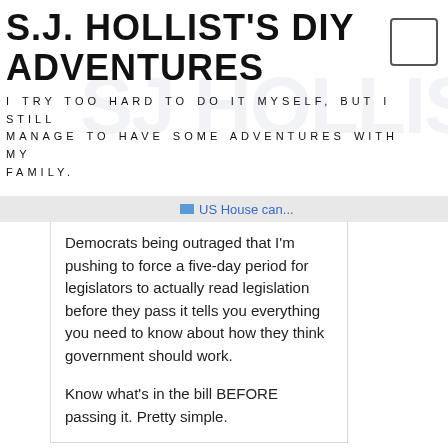S.J. HOLLIST'S DIY ADVENTURES
I TRY TOO HARD TO DO IT MYSELF, BUT I STILL MANAGE TO HAVE SOME ADVENTURES WITH MY FAMILY.
US House can...
Democrats being outraged that I'm pushing to force a five-day period for legislators to actually read legislation before they pass it tells you everything you need to know about how they think government should work.

Know what's in the bill BEFORE passing it. Pretty simple.